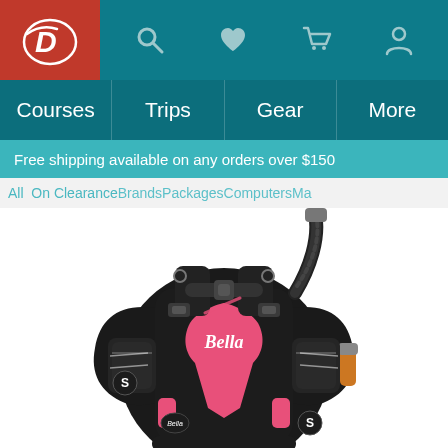[Figure (logo): Divers Direct logo - red circular logo with white D on top navigation bar]
Courses  Trips  Gear  More
Free shipping available on any orders over $150
All  On Clearance Brands Packages Computers Ma...
[Figure (photo): Scubapro Bella BCD buoyancy compensator device - black and pink diving vest/jacket with 'Bella' branding visible on the chest area, showing straps, buckles, inflation hose and backplate]